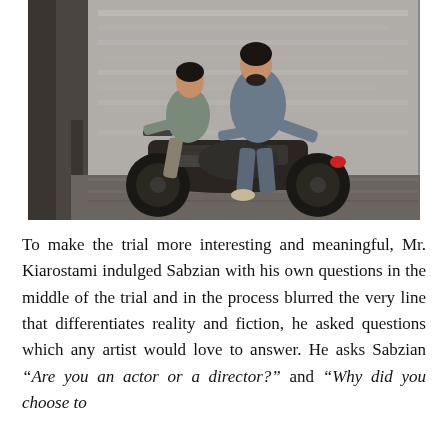[Figure (photo): Two men riding a motorcycle together on a street, motion blur visible in the background suggesting high speed. The passenger sits in front, the rider behind. Both wear casual grey clothing.]
To make the trial more interesting and meaningful, Mr. Kiarostami indulged Sabzian with his own questions in the middle of the trial and in the process blurred the very line that differentiates reality and fiction, he asked questions which any artist would love to answer. He asks Sabzian “Are you an actor or a director?” and “Why did you choose to